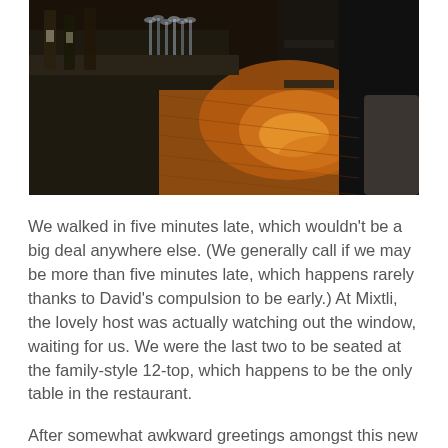[Figure (photo): Interior of a dimly lit restaurant bar area showing dark counters, wine glasses, and warm wooden floor with orange lighting in the background]
We walked in five minutes late, which wouldn't be a big deal anywhere else. (We generally call if we may be more than five minutes late, which happens rarely thanks to David's compulsion to be early.) At Mixtli, the lovely host was actually watching out the window, waiting for us. We were the last two to be seated at the family-style 12-top, which happens to be the only table in the restaurant.
After somewhat awkward greetings amongst this new group tossed together, the first glass